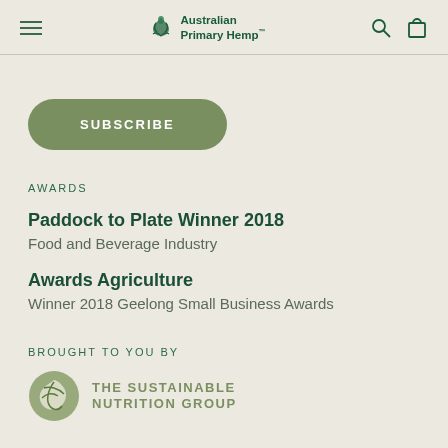Australian Primary Hemp
[Figure (other): Subscribe button - rounded rectangle with olive green background and white uppercase text 'SUBSCRIBE']
AWARDS
Paddock to Plate Winner 2018
Food and Beverage Industry
Awards Agriculture
Winner 2018 Geelong Small Business Awards
BROUGHT TO YOU BY
[Figure (logo): The Sustainable Nutrition Group logo - circular leaf/plant icon with text 'THE SUSTAINABLE NUTRITION GROUP']